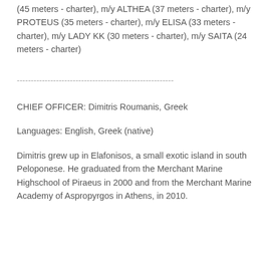(45 meters - charter), m/y ALTHEA (37 meters - charter), m/y PROTEUS (35 meters - charter), m/y ELISA (33 meters - charter), m/y LADY KK (30 meters - charter), m/y SAITA (24 meters - charter)
--------------------------------------------------------
CHIEF OFFICER: Dimitris Roumanis, Greek
Languages: English, Greek (native)
Dimitris grew up in Elafonisos, a small exotic island in south Peloponese. He graduated from the Merchant Marine Highschool of Piraeus in 2000 and from the Merchant Marine Academy of Aspropyrgos in Athens, in 2010.